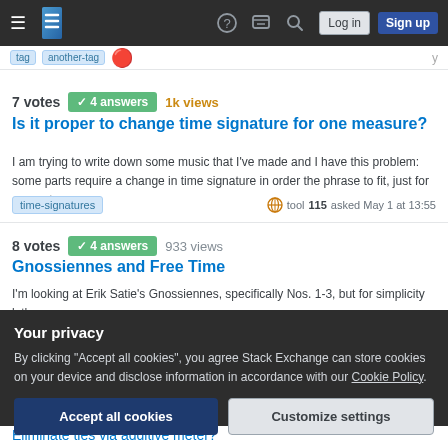Stack Exchange navigation header with hamburger menu, logo, help, inbox, search, Log in, Sign up
7 votes  4 answers  1k views
Is it proper to change time signature for one measure?
I am trying to write down some music that I've made and I have this problem: some parts require a change in time signature in order the phrase to fit, just for one or tw…
time-signatures  tool 115 asked May 1 at 13:55
8 votes  4 answers  933 views
Gnossiennes and Free Time
I'm looking at Erik Satie's Gnossiennes, specifically Nos. 1-3, but for simplicity let's
Your privacy
By clicking "Accept all cookies", you agree Stack Exchange can store cookies on your device and disclose information in accordance with our Cookie Policy.
Accept all cookies   Customize settings
Eliminate ties via additive meter?